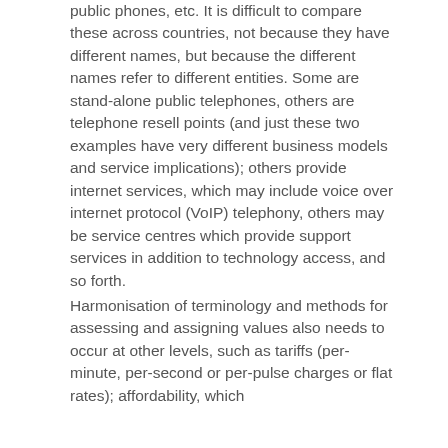public phones, etc. It is difficult to compare these across countries, not because they have different names, but because the different names refer to different entities. Some are stand-alone public telephones, others are telephone resell points (and just these two examples have very different business models and service implications); others provide internet services, which may include voice over internet protocol (VoIP) telephony, others may be service centres which provide support services in addition to technology access, and so forth.
Harmonisation of terminology and methods for assessing and assigning values also needs to occur at other levels, such as tariffs (per-minute, per-second or per-pulse charges or flat rates); affordability, which